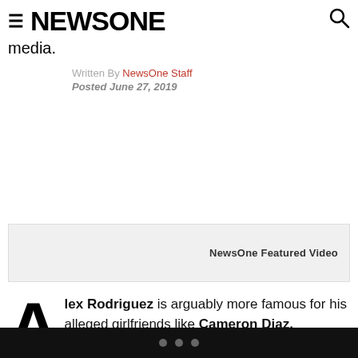NEWSONE
media.
Written By NewsOne Staff
Posted June 27, 2019
[Figure (other): NewsOne Featured Video box - gray background placeholder]
Alex Rodriguez is arguably more famous for his alleged girlfriends like Cameron Diaz, Madonna and now, which is confirmed, Jennifer Lopez.
• • •